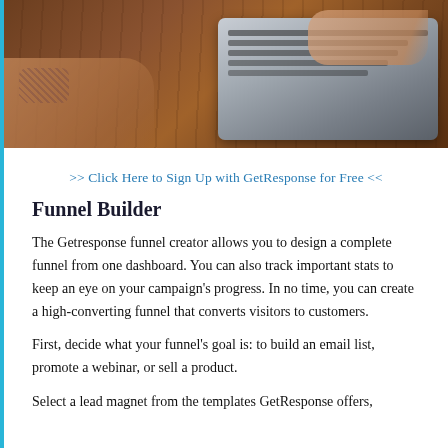[Figure (photo): Photo of two people's hands typing on a laptop keyboard placed on a wooden table. The left hand has tattoos. The keyboard appears silver/gray.]
>> Click Here to Sign Up with GetResponse for Free <<
Funnel Builder
The Getresponse funnel creator allows you to design a complete funnel from one dashboard. You can also track important stats to keep an eye on your campaign's progress. In no time, you can create a high-converting funnel that converts visitors to customers.
First, decide what your funnel's goal is: to build an email list, promote a webinar, or sell a product.
Select a lead magnet from the templates GetResponse offers,